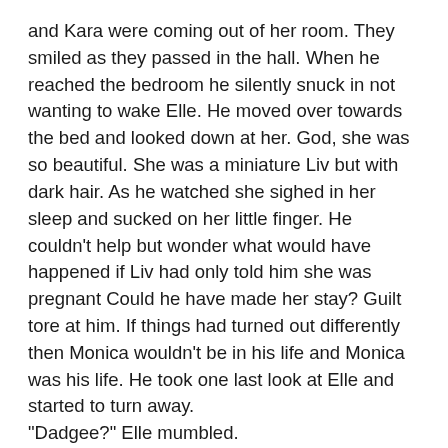and Kara were coming out of her room. They smiled as they passed in the hall. When he reached the bedroom he silently snuck in not wanting to wake Elle. He moved over towards the bed and looked down at her. God, she was so beautiful. She was a miniature Liv but with dark hair. As he watched she sighed in her sleep and sucked on her little finger. He couldn't help but wonder what would have happened if Liv had only told him she was pregnant Could he have made her stay? Guilt tore at him. If things had turned out differently then Monica wouldn't be in his life and Monica was his life. He took one last look at Elle and started to turn away.
"Dadgee?" Elle mumbled.
His heart caught, "Yeah it's Dadgee." He bent over and kissed her cheek." Go back to sleep little Bug it's still early."
Her eyes fluttered open a brief moment then closed,
"Luv you."
His heart spoke, "Love you too, Baby."